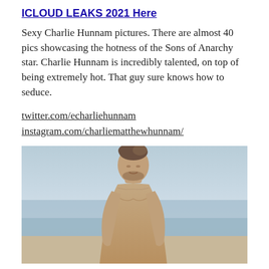ICLOUD LEAKS 2021 Here
Sexy Charlie Hunnam pictures. There are almost 40 pics showcasing the hotness of the Sons of Anarchy star. Charlie Hunnam is incredibly talented, on top of being extremely hot. That guy sure knows how to seduce.
twitter.com/echarliehunnam
instagram.com/charliematthewhunnam/
[Figure (photo): Shirtless man at beach, Charlie Hunnam, outdoors with ocean/sky background]